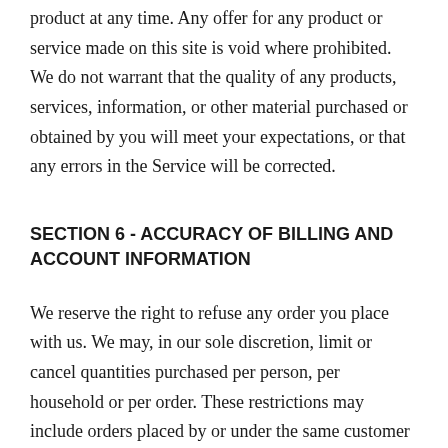product at any time. Any offer for any product or service made on this site is void where prohibited.
We do not warrant that the quality of any products, services, information, or other material purchased or obtained by you will meet your expectations, or that any errors in the Service will be corrected.
SECTION 6 - ACCURACY OF BILLING AND ACCOUNT INFORMATION
We reserve the right to refuse any order you place with us. We may, in our sole discretion, limit or cancel quantities purchased per person, per household or per order. These restrictions may include orders placed by or under the same customer account, the same credit card, and/or orders that use the same billing and/or shipping address. In the event that we make a change to or cancel an order, we may attempt to notify you by contacting